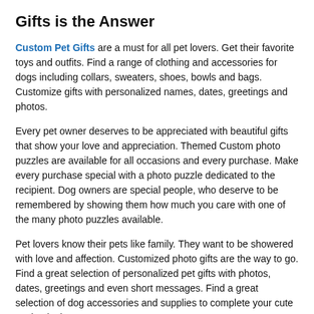Adopting a New Family Member? Custom Pet Gifts is the Answer
Custom Pet Gifts are a must for all pet lovers. Get their favorite toys and outfits. Find a range of clothing and accessories for dogs including collars, sweaters, shoes, bowls and bags. Customize gifts with personalized names, dates, greetings and photos.
Every pet owner deserves to be appreciated with beautiful gifts that show your love and appreciation. Themed Custom photo puzzles are available for all occasions and every purchase. Make every purchase special with a photo puzzle dedicated to the recipient. Dog owners are special people, who deserve to be remembered by showing them how much you care with one of the many photo puzzles available.
Pet lovers know their pets like family. They want to be showered with love and affection. Customized photo gifts are the way to go. Find a great selection of personalized pet gifts with photos, dates, greetings and even short messages. Find a great selection of dog accessories and supplies to complete your cute canine look.
Greet your canine friends with custom pet gifts. Your pup's look is important to you, just as much as their personality. Get them on track with a photo blanket or coat. Personalize these items with the photo of their choosing. Choose a fun item that will make them smile and show off